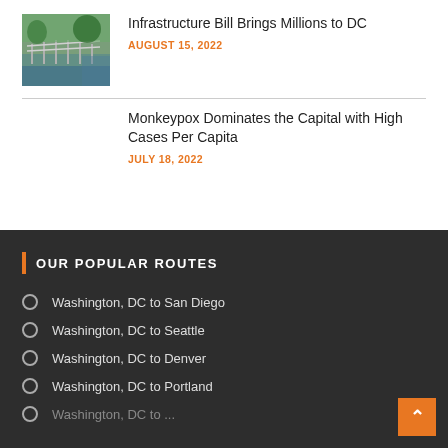[Figure (photo): Photo of a waterfront bridge/railing scene with water reflection, outdoors]
Infrastructure Bill Brings Millions to DC
AUGUST 15, 2022
Monkeypox Dominates the Capital with High Cases Per Capita
JULY 18, 2022
OUR POPULAR ROUTES
Washington, DC to San Diego
Washington, DC to Seattle
Washington, DC to Denver
Washington, DC to Portland
Washington, DC to ...